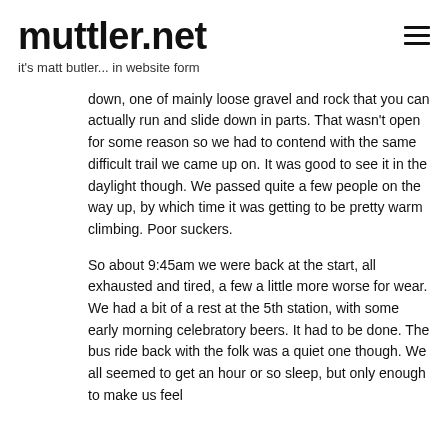muttler.net
it's matt butler... in website form
down, one of mainly loose gravel and rock that you can actually run and slide down in parts. That wasn't open for some reason so we had to contend with the same difficult trail we came up on. It was good to see it in the daylight though. We passed quite a few people on the way up, by which time it was getting to be pretty warm climbing. Poor suckers.
So about 9:45am we were back at the start, all exhausted and tired, a few a little more worse for wear. We had a bit of a rest at the 5th station, with some early morning celebratory beers. It had to be done. The bus ride back with the folk was a quiet one though. We all seemed to get an hour or so sleep, but only enough to make us feel